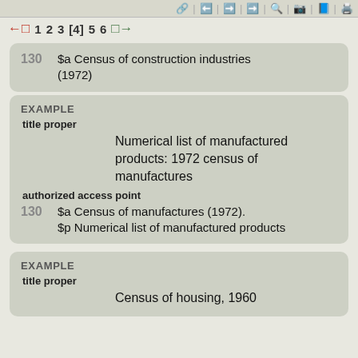toolbar navigation icons
1 2 3 [4] 5 6 pagination
| Field | Value |
| --- | --- |
| 130 | $a Census of construction industries (1972) |
EXAMPLE
title proper
Numerical list of manufactured products: 1972 census of manufactures
authorized access point
| Field | Value |
| --- | --- |
| 130 | $a Census of manufactures (1972). $p Numerical list of manufactured products |
EXAMPLE
title proper
Census of housing, 1960